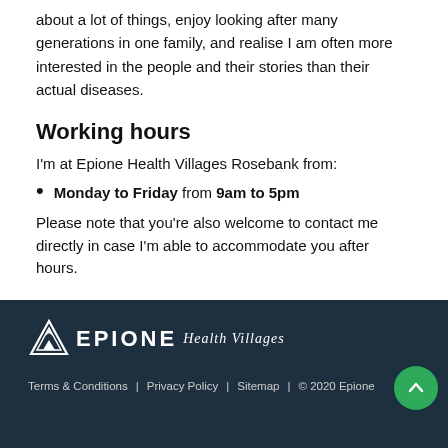about a lot of things, enjoy looking after many generations in one family, and realise I am often more interested in the people and their stories than their actual diseases.
Working hours
I'm at Epione Health Villages Rosebank from:
Monday to Friday from 9am to 5pm
Please note that you're also welcome to contact me directly in case I'm able to accommodate you after hours.
[Figure (logo): Epione Health Villages logo — triangle icon with EPIONE in bold caps and 'Health Villages' in italic script, white on dark navy background]
Terms & Conditions  |  Privacy Policy  |  Sitemap  |  © 2020 Epione